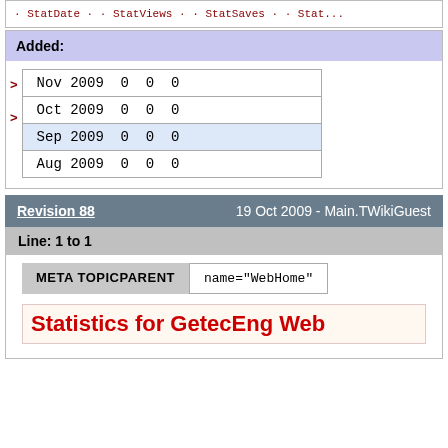StatDate · · StatViews · · StatSaves · · Stat...
Added:
| Nov 2009 0 0 0 |
| Oct 2009 0 0 0 |
| Sep 2009 0 0 0 |
| Aug 2009 0 0 0 |
Revision 88    19 Oct 2009 - Main.TWikiGuest
Line: 1 to 1
META TOPICPARENT    name="WebHome"
Statistics for GetecEng Web